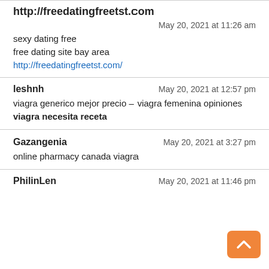http://freedatingfreetst.com
May 20, 2021 at 11:26 am
sexy dating free
free dating site bay area
http://freedatingfreetst.com/
leshnh    May 20, 2021 at 12:57 pm
viagra generico mejor precio – viagra femenina opiniones viagra necesita receta
Gazangenia    May 20, 2021 at 3:27 pm
online pharmacy canada viagra
PhilipLen    May 20, 2021 at 11:46 pm